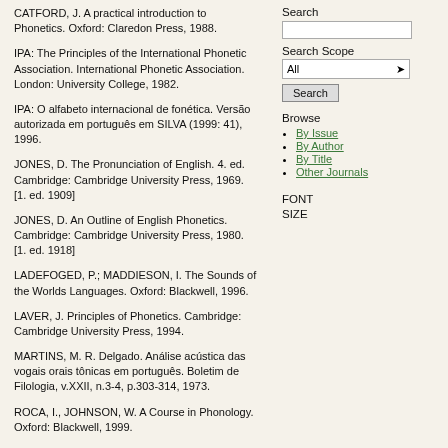CATFORD, J. A practical introduction to Phonetics. Oxford: Claredon Press, 1988.
IPA: The Principles of the International Phonetic Association. International Phonetic Association. London: University College, 1982.
IPA: O alfabeto internacional de fonética. Versão autorizada em português em SILVA (1999: 41), 1996.
JONES, D. The Pronunciation of English. 4. ed. Cambridge: Cambridge University Press, 1969. [1. ed. 1909]
JONES, D. An Outline of English Phonetics. Cambridge: Cambridge University Press, 1980. [1. ed. 1918]
LADEFOGED, P.; MADDIESON, I. The Sounds of the Worlds Languages. Oxford: Blackwell, 1996.
LAVER, J. Principles of Phonetics. Cambridge: Cambridge University Press, 1994.
MARTINS, M. R. Delgado. Análise acústica das vogais orais tônicas em português. Boletim de Filologia, v.XXII, n.3-4, p.303-314, 1973.
ROCA, I., JOHNSON, W. A Course in Phonology. Oxford: Blackwell, 1999.
SILVA, Thaïs Cristófaro. Descrição fonética e análise de alguns processos
Search
Search Scope
All
Search
Browse
By Issue
By Author
By Title
Other Journals
FONT SIZE